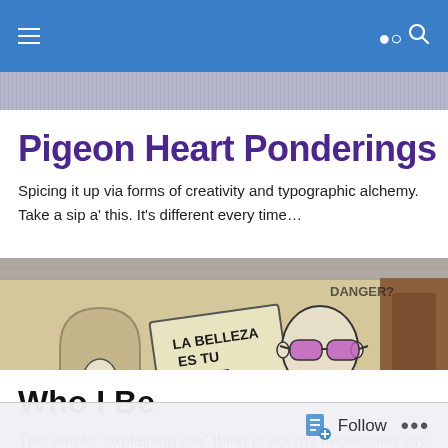Navigation bar with hamburger menu and search icon
Pigeon Heart Ponderings
Spicing it up via forms of creativity and typographic alchemy. Take a sip a' this. It's different every time…
[Figure (photo): Street art on a stone wall showing graffiti characters: one small ghost-like figure in an arched niche, a sign reading 'LA BELLEZA ES TU CABE Z' and a bald cartoon figure wearing purple sunglasses. Text 'DANGER?' visible at top right.]
Who I Be
This whole “explaining me” thing is not my necessarily my
Follow   •••